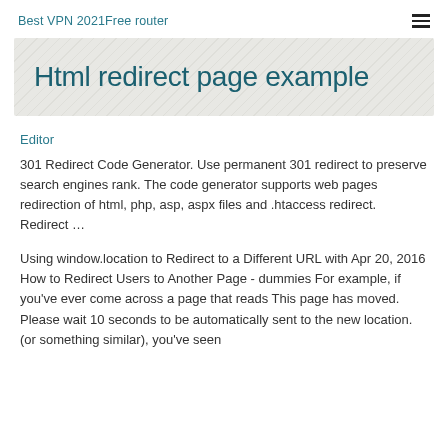Best VPN 2021Free router
Html redirect page example
Editor
301 Redirect Code Generator. Use permanent 301 redirect to preserve search engines rank. The code generator supports web pages redirection of html, php, asp, aspx files and .htaccess redirect. Redirect …
Using window.location to Redirect to a Different URL with Apr 20, 2016 How to Redirect Users to Another Page - dummies For example, if you've ever come across a page that reads This page has moved. Please wait 10 seconds to be automatically sent to the new location. (or something similar), you've seen